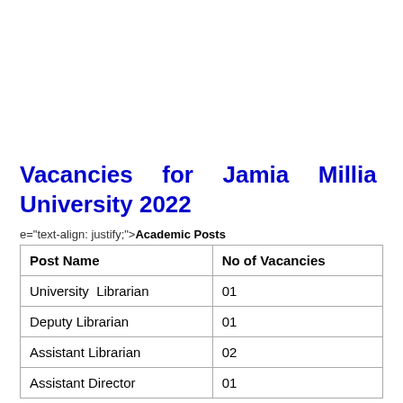Vacancies for Jamia Millia University 2022
e="text-align: justify;">Academic Posts
| Post Name | No of Vacancies |
| --- | --- |
| University  Librarian | 01 |
| Deputy Librarian | 01 |
| Assistant Librarian | 02 |
| Assistant Director | 01 |